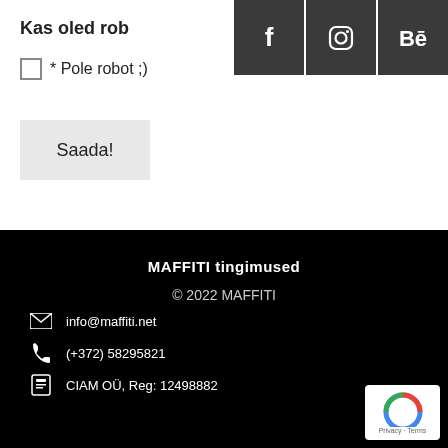Kas oled rob
[Figure (other): Social media icons: Facebook (f), Instagram, Behance (Bē) on dark grey background]
* Pole robot ;)
Saada!
MAFFITI tingimused
© 2022 MAFFITI
info@maffiti.net
(+372) 58295821
CIAM OÜ, Reg: 12498882